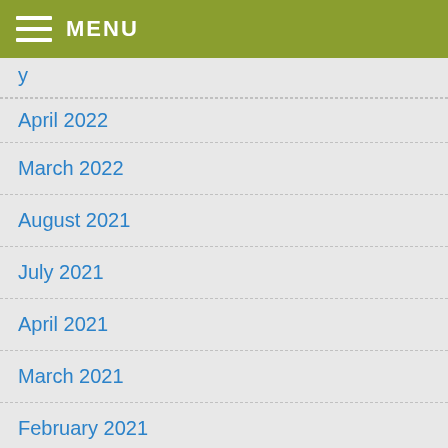MENU
April 2022
March 2022
August 2021
July 2021
April 2021
March 2021
February 2021
December 2020
November 2020